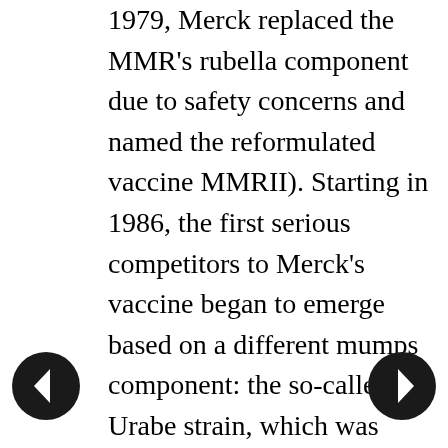1979, Merck replaced the MMR's rubella component due to safety concerns and named the reformulated vaccine MMRII). Starting in 1986, the first serious competitors to Merck's vaccine began to emerge based on a different mumps component: the so-called Urabe strain, which was first licensed by Japan's Biken Institute in 1979. Urabe-based vaccines were licensed in countries all over the world, including Canada, Japan, and the United Kingdom, to name just a few. For many years, however, Merck was able maintained its advantage in the category by outpacing the performance of Urabe-based MMR vaccines.
Merck's main advantage came from its superior safety reputation. One of the most troublesome adverse events for MMR vaccines was aseptic meningitis, as serious and